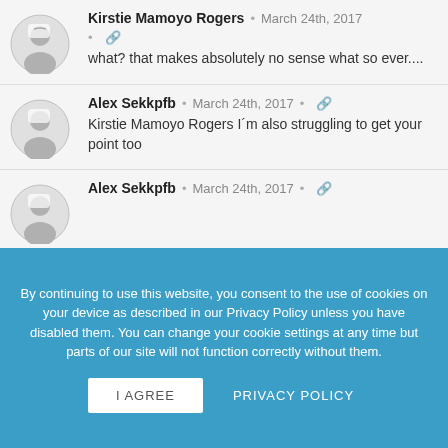Kirstie Mamoyo Rogers · March 24th, 2017 · what? that makes absolutely no sense what so ever....
Alex Sekkpfb · March 24th, 2017 · Kirstie Mamoyo Rogers I´m also struggling to get your point too
Alex Sekkpfb · March 24th, 2017
By continuing to use this website, you consent to the use of cookies on your device as described in our Privacy Policy unless you have disabled them. You can change your cookie settings at any time but parts of our site will not function correctly without them.
I AGREE
PRIVACY POLICY